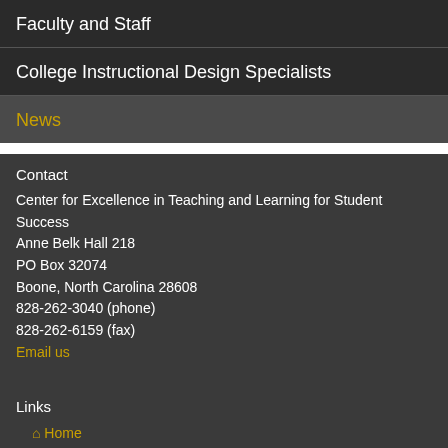Faculty and Staff
College Instructional Design Specialists
News
Contact
Center for Excellence in Teaching and Learning for Student Success
Anne Belk Hall 218
PO Box 32074
Boone, North Carolina 28608
828-262-3040 (phone)
828-262-6159 (fax)
Email us
Links
Home